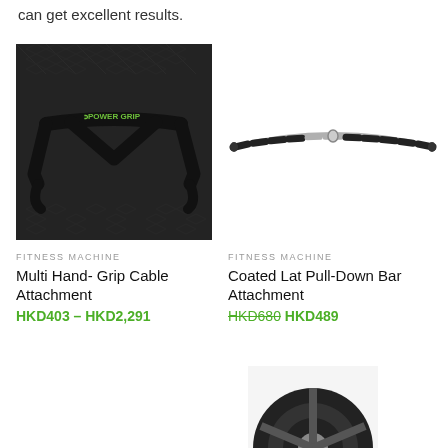can get excellent results.
[Figure (photo): Black multi hand-grip cable attachment (Power Grip brand) against dark diamond-plate metal surface]
FITNESS MACHINE
Multi Hand- Grip Cable Attachment
HKD403 – HKD2,291
[Figure (photo): Coated lat pull-down bar attachment, curved silver/black bar on white background]
FITNESS MACHINE
Coated Lat Pull-Down Bar Attachment
HKD680  HKD489
[Figure (photo): Partial view of another fitness equipment item at bottom right]